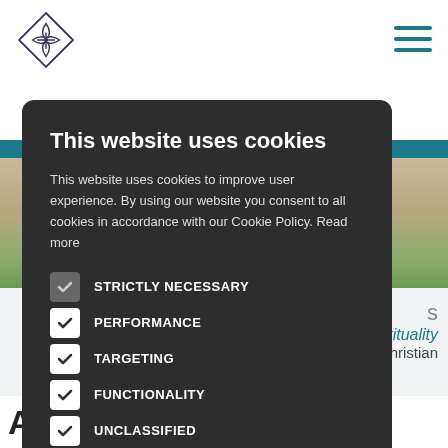[Figure (logo): Leaf/cross symbol logo in outline style]
This website uses cookies
This website uses cookies to improve user experience. By using our website you consent to all cookies in accordance with our Cookie Policy. Read more
STRICTLY NECESSARY (checked, greyed checkbox)
PERFORMANCE (checked, white checkbox)
TARGETING (checked, white checkbox)
FUNCTIONALITY (checked, white checkbox)
UNCLASSIFIED (checked, white checkbox)
ACCEPT ALL
DECLINE ALL
SHOW DETAILS
s
ry Spirituality
n Christian
About the Markus & Dor...